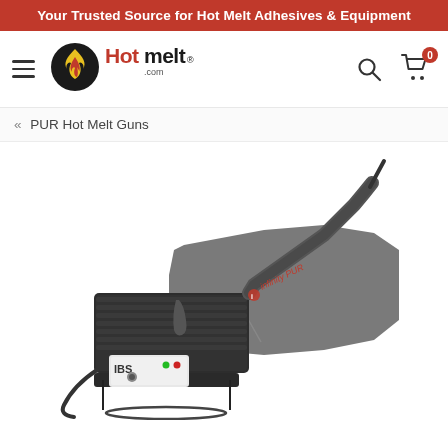Your Trusted Source for Hot Melt Adhesives & Equipment
[Figure (logo): Hotmelt.com logo with flame icon]
PUR Hot Melt Guns
[Figure (photo): Infinity PUR hot melt glue gun, gray body, resting on a stand, with nozzle pointing upper right]